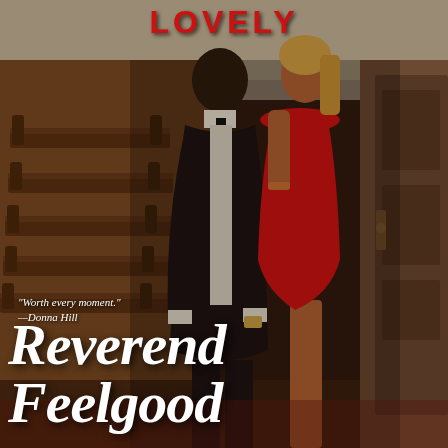[Figure (illustration): Book cover showing a man in a dark suit with striped tie and a woman in a red dress standing in a church interior with wooden pews visible in the background and a wooden door on the right side]
LOVELY
"Worth every moment."
—Donna Hill
Reverend Feelgood